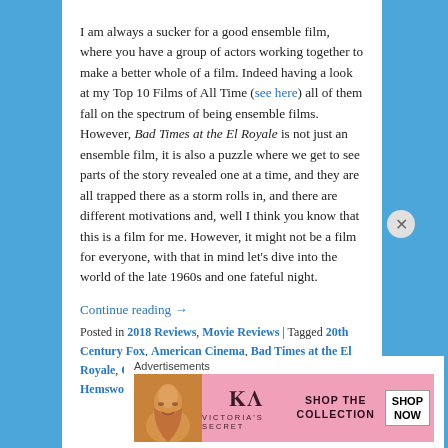I am always a sucker for a good ensemble film, where you have a group of actors working together to make a better whole of a film. Indeed having a look at my Top 10 Films of All Time (see here) all of them fall on the spectrum of being ensemble films. However, Bad Times at the El Royale is not just an ensemble film, it is also a puzzle where we get to see parts of the story revealed one at a time, and they are all trapped there as a storm rolls in, and there are different motivations and, well I think you know that this is a film for me. However, it might not be a film for everyone, with that in mind let's dive into the world of the late 1960s and one fateful night.
Continue reading →
Posted in 2018 Reviews, Movie Reviews | Tagged 20th Century Fox, American Cinema, Bad Times at the El Royale, Cailee Spaeny, Charles Halford, Chris Hemsworth,
Advertisements
[Figure (photo): Victoria's Secret advertisement banner with woman's face, VS logo, 'SHOP THE COLLECTION' text, and 'SHOP NOW' button on pink background]